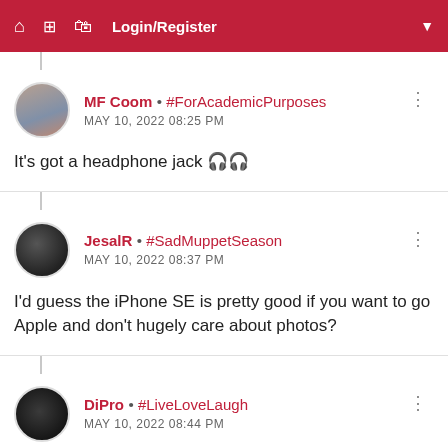Login/Register
MF Coom • #ForAcademicPurposes
MAY 10, 2022 08:25 PM
It's got a headphone jack 🎧🎧
JesalR • #SadMuppetSeason
MAY 10, 2022 08:37 PM
I'd guess the iPhone SE is pretty good if you want to go Apple and don't hugely care about photos?
DiPro • #LiveLoveLaugh
MAY 10, 2022 08:44 PM
The screen is also shitty imo and it has thick ass bezels.